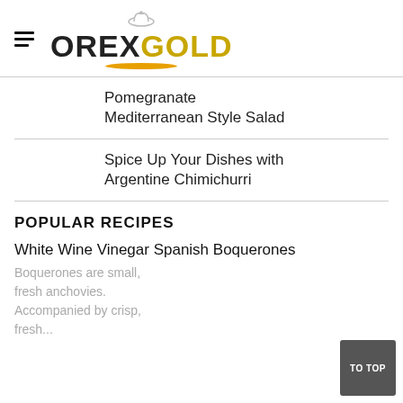OREXGOLD
Pomegranate Mediterranean Style Salad
Spice Up Your Dishes with Argentine Chimichurri
POPULAR RECIPES
White Wine Vinegar Spanish Boquerones
Boquerones are small, fresh anchovies. Accompanied by crisp, fresh...